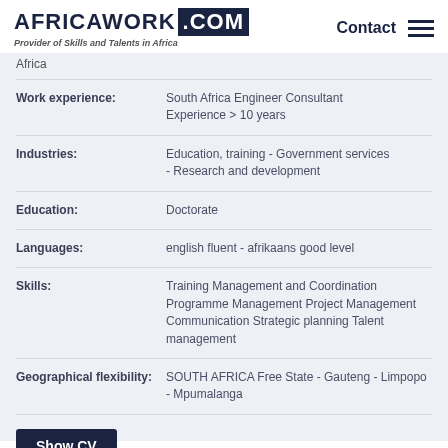AFRICAWORK .COM — Provider of Skills and Talents in Africa — Contact
Africa
Work experience: South Africa Engineer Consultant Experience > 10 years
Industries: Education, training - Government services - Research and development
Education: Doctorate
Languages: english fluent - afrikaans good level
Skills: Training Management and Coordination Programme Management Project Management Communication Strategic planning Talent management
Geographical flexibility: SOUTH AFRICA Free State - Gauteng - Limpopo - Mpumalanga
Show CV